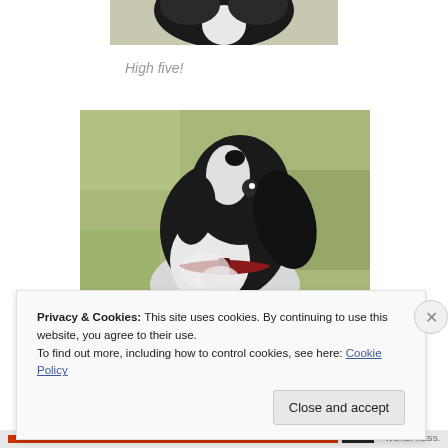[Figure (photo): Partial view of a black and white dog photographed from above, showing the top of its head and back, cropped at top of page]
High five!
[Figure (photo): A black and white fluffy dog wearing a red collar, looking upward with mouth open, sitting on grass in an outdoor setting]
Privacy & Cookies: This site uses cookies. By continuing to use this website, you agree to their use.
To find out more, including how to control cookies, see here: Cookie Policy
Close and accept